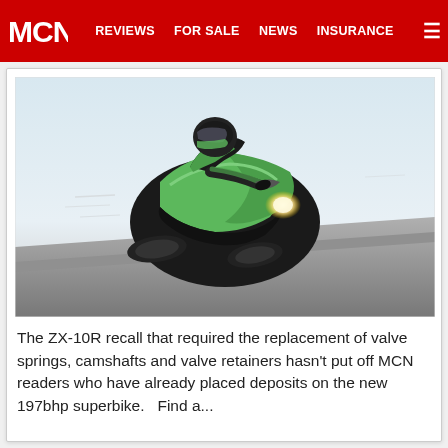MCN | REVIEWS | FOR SALE | NEWS | INSURANCE
[Figure (photo): A motorcycle rider in green and black racing leathers leans forward on a green Kawasaki ZX-10R superbike on a race track, photographed from a low front angle with the headlight illuminated and the bike appearing to launch off the track surface.]
The ZX-10R recall that required the replacement of valve springs, camshafts and valve retainers hasn't put off MCN readers who have already placed deposits on the new 197bhp superbike.   Find a...